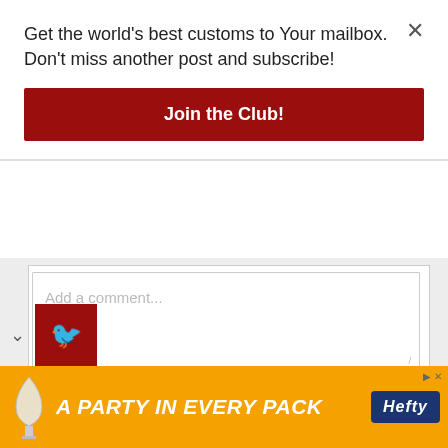Get the world's best customs to Your mailbox. Don't miss another post and subscribe!
Join the Club!
[Figure (screenshot): Comment box with placeholder text 'Add a comment...' and Facebook Comments plugin link below]
Posted in Cafe Racer
Tagged capelos garage, elemental rides, r1, showa, sr400, Yamaha, yzf
[Figure (screenshot): Collapsed navigation bar with chevron and red icon box]
[Figure (screenshot): Orange advertisement banner: 'A PARTY in EVERY PACK' with Hefty logo]